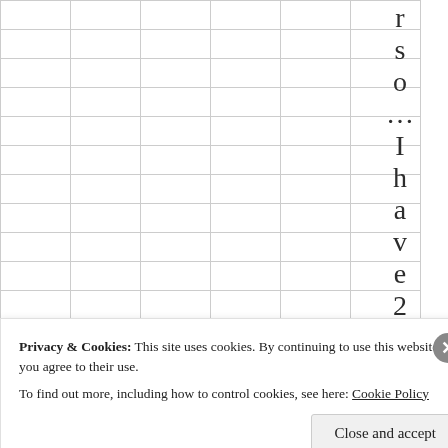|  |  |  |  |  | r |
|  |  |  |  |  | s |
|  |  |  |  |  | o |
|  |  |  |  |  | ... |
|  |  |  |  |  | I |
|  |  |  |  |  | h |
|  |  |  |  |  | a |
|  |  |  |  |  | v |
|  |  |  |  |  | e |
|  |  |  |  |  | 2 |
|  |  |  |  |  | 1 |
Privacy & Cookies: This site uses cookies. By continuing to use this website, you agree to their use.
To find out more, including how to control cookies, see here: Cookie Policy
Close and accept